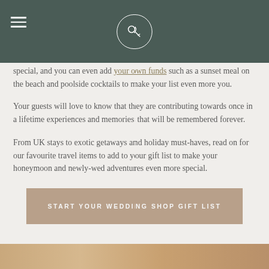[Navigation bar with hamburger menu and key logo]
special, and you can even add your own funds such as a sunset meal on the beach and poolside cocktails to make your list even more you.
Your guests will love to know that they are contributing towards once in a lifetime experiences and memories that will be remembered forever.
From UK stays to exotic getaways and holiday must-haves, read on for our favourite travel items to add to your gift list to make your honeymoon and newly-wed adventures even more special.
START YOUR WEDDING SHOP GIFT LIST
[Figure (photo): Bottom strip showing a partial photo, warm toned]